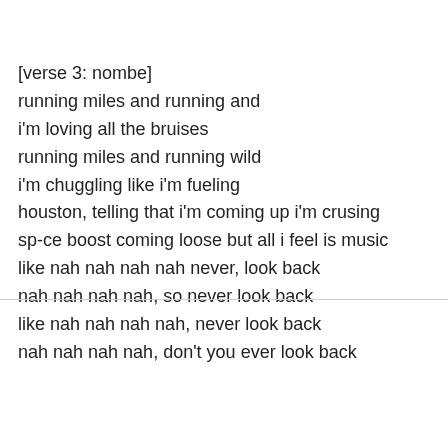[verse 3: nombe]
running miles and running and
i'm loving all the bruises
running miles and running wild
i'm chuggling like i'm fueling
houston, telling that i'm coming up i'm crusing
sp-ce boost coming loose but all i feel is music
like nah nah nah nah never, look back
nah nah nah nah, so never look back
like nah nah nah nah, never look back
nah nah nah nah, don't you ever look back